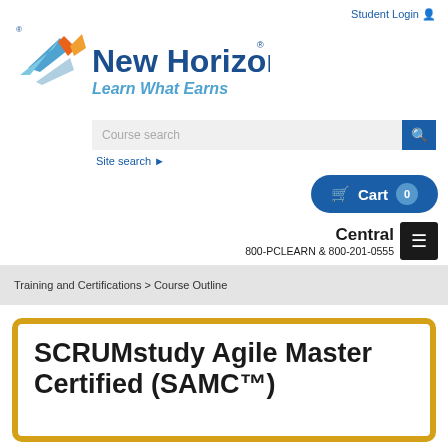Student Login
[Figure (logo): New Horizons logo with tagline 'Learn What Earns']
Course search
Site search ▶
🛒 Cart  0
Central
800-PCLEARN  & 800-201-0555
Training and Certifications > Course Outline
SCRUMstudy Agile Master Certified (SAMC™)